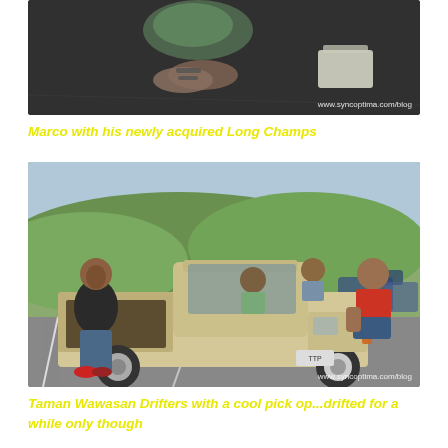[Figure (photo): Close-up photo of feet/shoes on dark asphalt ground with a plastic bag visible, watermark www.syncoptima.com/blog in bottom right]
Marco with his newly acquired Long Champs
[Figure (photo): Group of four young men posing with a vintage cream/beige pickup truck in a parking lot with green hills in background. One man stands beside the truck on the left wearing dark shirt and jeans, three others sit/lean in the truck bed. Man on far right wears red shirt. Watermark www.syncoptima.com/blog in bottom right.]
Taman Wawasan Drifters with a cool pick op...drifted for a while only though